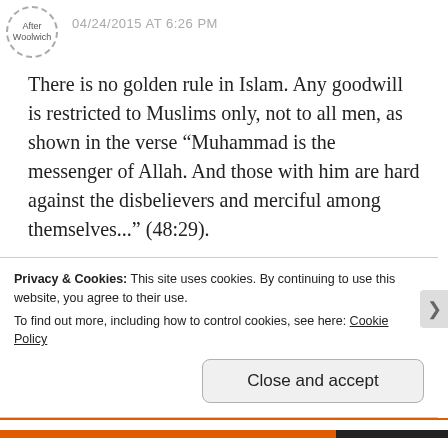After Woolwich  04/24/2015 AT 6:26 PM
There is no golden rule in Islam. Any goodwill is restricted to Muslims only, not to all men, as shown in the verse “Muhammad is the messenger of Allah. And those with him are hard against the disbelievers and merciful among themselves...” (48:29).
Trying to depict a man who was was crucified and a man who ordered crucifixions as morally equal is
Privacy & Cookies: This site uses cookies. By continuing to use this website, you agree to their use.
To find out more, including how to control cookies, see here: Cookie Policy
Close and accept